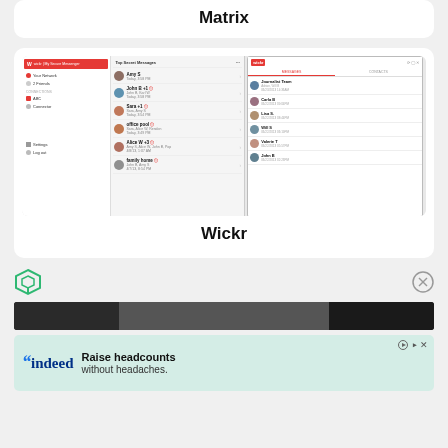Matrix
[Figure (screenshot): Wickr messaging app screenshot showing desktop and mobile interfaces with conversation list including Amy S, John B +1, Sara +1, office pool, Alice W +3, family home, and mobile contact list with Journalist Team, Carla B, Lisa S., Will S, Valerie T, John B]
Wickr
[Figure (infographic): Dark banner advertisement strip]
[Figure (screenshot): Indeed advertisement: Raise headcounts without headaches.]